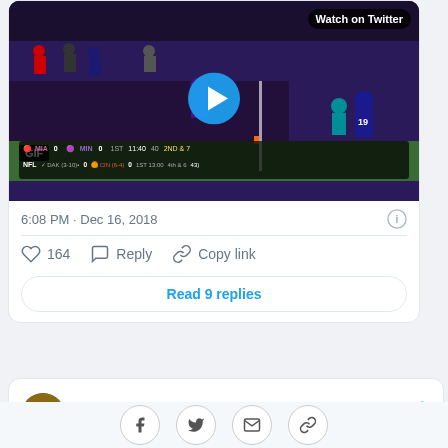[Figure (screenshot): NFL football video thumbnail showing a game play, with GIF badge, play button overlay, scoreboard showing MIA 0, MIN 0, 1ST 11:40, 2ND & 7, and NFL ticker at bottom with DAK and CIN scores. Watch on Twitter button visible top right.]
6:08 PM · Dec 16, 2018
164  Reply  Copy link
Read 9 replies
Kirk Cousins